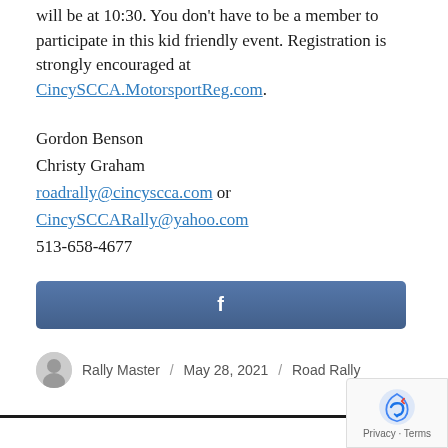will be at 10:30. You don't have to be a member to participate in this kid friendly event. Registration is strongly encouraged at CincySCCA.MotorsportReg.com.
Gordon Benson
Christy Graham
roadrally@cincyscca.com or CincySCCARally@yahoo.com
513-658-4677
[Figure (other): Facebook share/like button with 'f' logo on blue gradient background]
Rally Master / May 28, 2021 / Road Rally